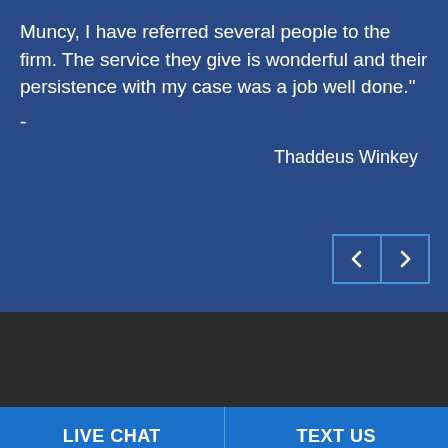Muncy, I have referred several people to the firm. The service they give is wonderful and their persistence with my case was a job well done."
-
Thaddeus Winkey
[Figure (other): Navigation previous/next buttons with left and right arrow chevrons on dark blue background]
LIVE CHAT
TEXT US